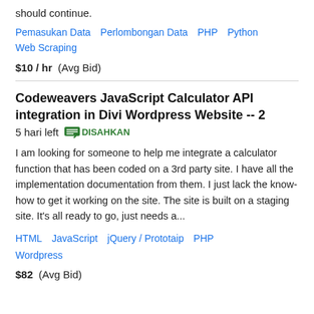should continue.
Pemasukan Data   Perlombongan Data   PHP   Python   Web Scraping
$10 / hr   (Avg Bid)
Codeweavers JavaScript Calculator API integration in Divi Wordpress Website -- 2
5 hari left   DISAHKAN
I am looking for someone to help me integrate a calculator function that has been coded on a 3rd party site. I have all the implementation documentation from them. I just lack the know-how to get it working on the site. The site is built on a staging site. It's all ready to go, just needs a...
HTML   JavaScript   jQuery / Prototaip   PHP   Wordpress
$82   (Avg Bid)